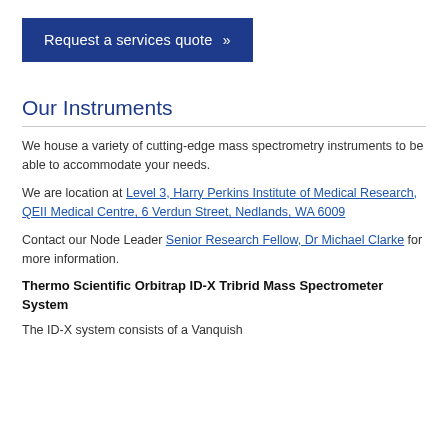[Figure (other): Blue button labeled 'Request a services quote >>']
Our Instruments
We house a variety of cutting-edge mass spectrometry instruments to be able to accommodate your needs.
We are location at Level 3, Harry Perkins Institute of Medical Research, QEII Medical Centre, 6 Verdun Street, Nedlands, WA 6009
Contact our Node Leader Senior Research Fellow, Dr Michael Clarke for more information.
Thermo Scientific Orbitrap ID-X Tribrid Mass Spectrometer System
The ID-X system consists of a Vanquish